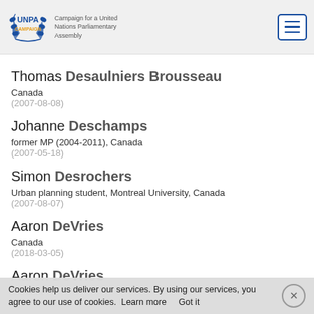UNPA CAMPAIGN — Campaign for a United Nations Parliamentary Assembly
Thomas Desaulniers Brousseau
Canada
(2007-08-08)
Johanne Deschamps
former MP (2004-2011), Canada
(2007-05-18)
Simon Desrochers
Urban planning student, Montreal University, Canada
(2007-08-07)
Aaron DeVries
Canada
(2018-03-05)
Aaron DeVries
Canada
Cookies help us deliver our services. By using our services, you agree to our use of cookies.  Learn more     Got it